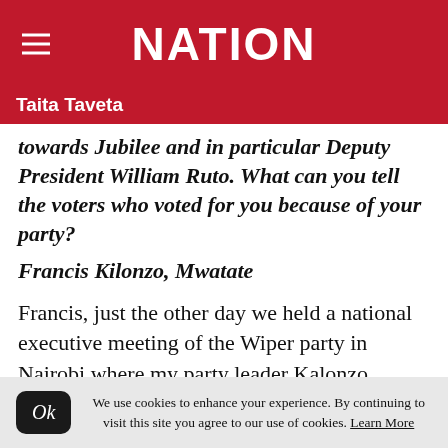NATION
Taita Taveta
towards Jubilee and in particular Deputy President William Ruto. What can you tell the voters who voted for you because of your party?
Francis Kilonzo, Mwatate
Francis, just the other day we held a national executive meeting of the Wiper party in Nairobi where my party leader Kalonzo Musyoka and the rest of the members agreed
We use cookies to enhance your experience. By continuing to visit this site you agree to our use of cookies. Learn More